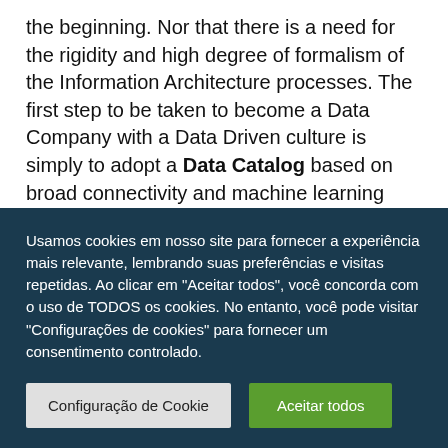the beginning. Nor that there is a need for the rigidity and high degree of formalism of the Information Architecture processes. The first step to be taken to become a Data Company with a Data Driven culture is simply to adopt a Data Catalog based on broad connectivity and machine learning capacity to define metadata, lineage and glossary terms.
But what is a Data Catalog? A Data Catalog is a
Usamos cookies em nosso site para fornecer a experiência mais relevante, lembrando suas preferências e visitas repetidas. Ao clicar em "Aceitar todos", você concorda com o uso de TODOS os cookies. No entanto, você pode visitar "Configurações de cookies" para fornecer um consentimento controlado.